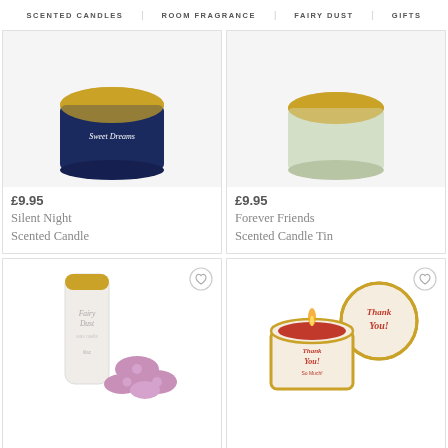SCENTED CANDLES | ROOM FRAGRANCE | FAIRY DUST | GIFTS
[Figure (photo): Silent Night scented candle tin with navy blue and gold lid, partially cropped at top]
£9.95
Silent Night Scented Candle
[Figure (photo): Forever Friends scented candle tin with cream/green and gold lid, partially cropped at top]
£9.95
Forever Friends Scented Candle Tin
[Figure (photo): Fairy Dust tube with pink/purple wax melts in flower shapes]
[Figure (photo): Thank You scented candle tin with gold lid and red candle burning, decorated with Thank You so Much design]